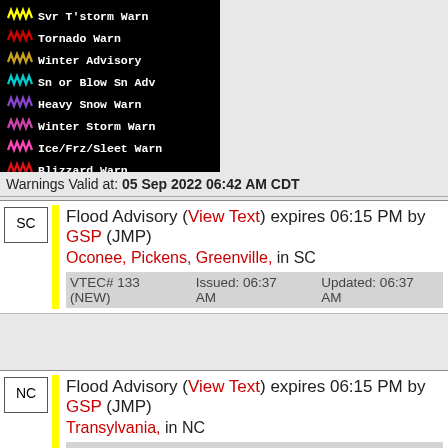[Figure (other): Weather warning legend on black background showing colored wavy line icons for: Svr T'storm Warn (yellow), Tornado Warn (red), Winter Advisory (tan/orange), Sn or Blow Sn Adv (cyan), Heavy Snow Warn (purple), Winter Storm Warn (pink/magenta), Ice/Frz/Sleet Warn (hot pink), Blizzard Warn (red)]
Warnings Valid at: 05 Sep 2022 06:42 AM CDT
SC Flood Advisory (View Text) expires 06:15 PM by GSP (JMP) Oconee, Pickens, Greenville, in SC VTEC# 133 (NEW) Issued: 06:37 AM Updated: 06:37 AM
NC Flood Advisory (View Text) expires 06:15 PM by GSP (JMP) Transylvania, in NC VTEC# 133 (NEW) Issued: 06:37 AM Updated: 06:37 AM